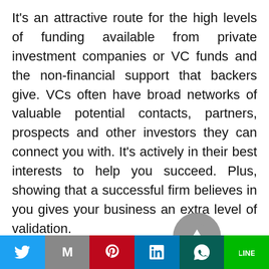It's an attractive route for the high levels of funding available from private investment companies or VC funds and the non-financial support that backers give. VCs often have broad networks of valuable potential contacts, partners, prospects and other investors they can connect you with. It's actively in their best interests to help you succeed. Plus, showing that a successful firm believes in you gives your business an extra level of validation.
However, there are some challenges to watch out for. VC funding is fiercely competitive, and the majority of startups seeking it won't get it. It can be a long journey to raise capital this way